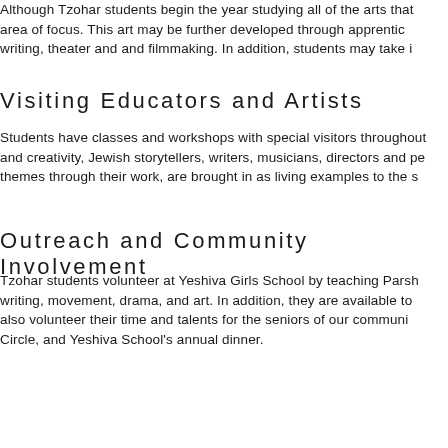Although Tzohar students begin the year studying all of the arts that area of focus. This art may be further developed through apprentic writing, theater and and filmmaking. In addition, students may take i
Visiting Educators and Artists
Students have classes and workshops with special visitors throughout and creativity, Jewish storytellers, writers, musicians, directors and pe themes through their work, are brought in as living examples to the s
Outreach and Community Involvement
Tzohar students volunteer at Yeshiva Girls School by teaching Parsh writing, movement, drama, and art. In addition, they are available to also volunteer their time and talents for the seniors of our communi Circle, and Yeshiva School's annual dinner.